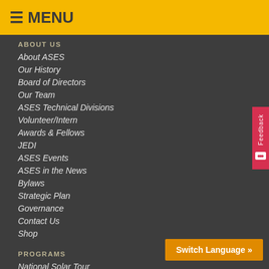≡ MENU
ABOUT US
About ASES
Our History
Board of Directors
Our Team
ASES Technical Divisions
Volunteer/Intern
Awards & Fellows
JEDI
ASES Events
ASES in the News
Bylaws
Strategic Plan
Governance
Contact Us
Shop
PROGRAMS
National Solar Tour
Solar Conference 2022
Conference Archives
Proceedings Archive
Switch Language »